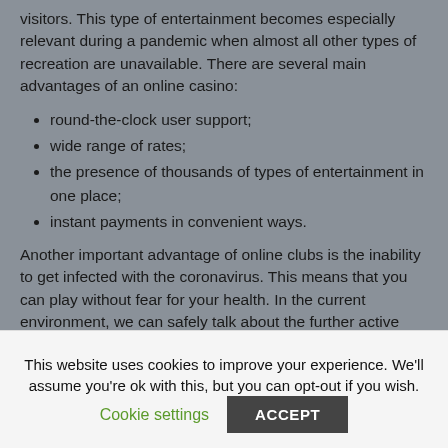visitors. This type of entertainment becomes especially relevant during a pandemic when almost all other types of recreation are unavailable. There are several main advantages of an online casino:
round-the-clock user support;
wide range of rates;
the presence of thousands of types of entertainment in one place;
instant payments in convenient ways.
Another important advantage of online clubs is the inability to get infected with the coronavirus. This means that you can play without fear for your health. In the current environment, we can safely talk about the further active development of the gaming industry on the Internet. Modern online casinos offer visitors a wide range of entertainment from trusted developers, and most
This website uses cookies to improve your experience. We'll assume you're ok with this, but you can opt-out if you wish.
Cookie settings  ACCEPT